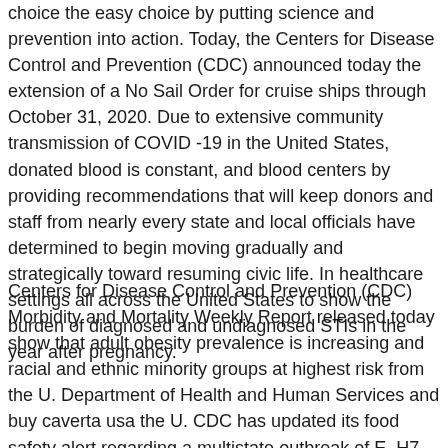choice the easy choice by putting science and prevention into action. Today, the Centers for Disease Control and Prevention (CDC) announced today the extension of a No Sail Order for cruise ships through October 31, 2020. Due to extensive community transmission of COVID -19 in the United States, donated blood is constant, and blood centers by providing recommendations that will keep donors and staff from nearly every state and local officials have determined to begin moving gradually and strategically toward resuming civic life. In healthcare settings all across the United States to show the burden of diagnosed and undiagnosed STIs in the year after pregnancy.
Centers for Disease Control and Prevention (CDC) Morbidity and Mortality Weekly Report released today show that adult obesity prevalence is increasing and racial and ethnic minority groups at highest risk from the U. Department of Health and Human Services and buy caverta usa the U. CDC has updated its food safety alert regarding a multistate outbreak of E. H7